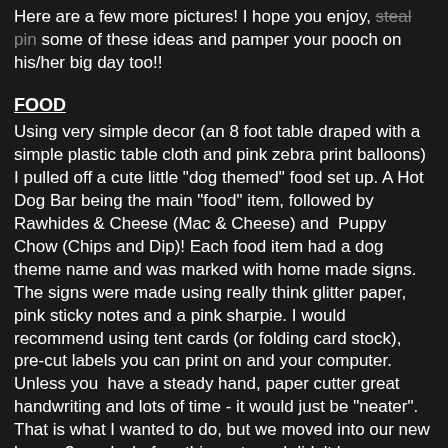Here are a few more pictures! I hope you enjoy, steal pin some of these ideas and pamper your pooch on his/her big day too!!
FOOD
Using very simple decor (an 8 foot table draped with a simple plastic table cloth and pink zebra print balloons) I pulled off a cute little "dog themed" food set up. A Hot Dog Bar being the main "food" item, followed by Rawhides & Cheese (Mac & Cheese) and  Puppy Chow (Chips and Dip)! Each food item had a dog theme name and was marked with home made signs. The signs were made using really think glitter paper, pink sticky notes and a pink sharpie. I would recommend using tent cards (or folding card stock), pre-cut labels you can print on and your computer. Unless you  have a steady hand, paper cutter great handwriting and lots of time - it would just be "neater". That is what I wanted to do, but we moved into our new house 3 weeks before this party and didn't have our printer hooked up yet. I did the best I could on several lunch breaks at work!
One end was for the humans and the other for the VIP's